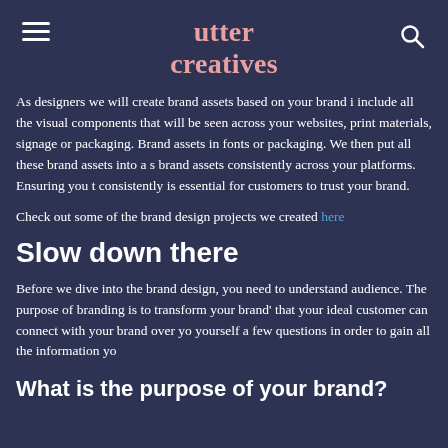utter creatives
As designers we will create brand assets based on your brand m include all the visual components that will be seen across your websites, print materials, signage or packaging. Brand assets in fonts or packaging. We then put all these brand assets into a s brand assets consistently across your platforms. Ensuring you t consistently is essential for customers to trust your brand.
Check out some of the brand design projects we created here
Slow down there
Before we dive into the brand design, you need to understand audience. The purpose of branding is to transform your brand' that your ideal customer can connect with your brand over yo yourself a few questions in order to gain all the information yo
What is the purpose of your brand?